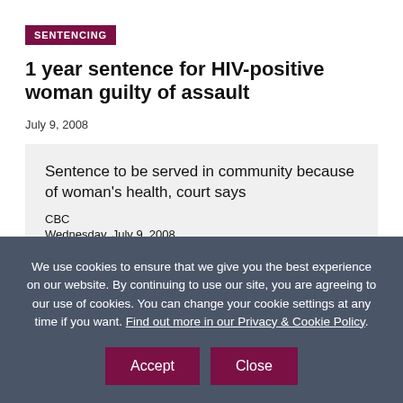SENTENCING
1 year sentence for HIV-positive woman guilty of assault
July 9, 2008
Sentence to be served in community because of woman's health, court says
CBC
Wednesday, July 9, 2008
A Quebec woman living with AIDS has been given a one
We use cookies to ensure that we give you the best experience on our website. By continuing to use our site, you are agreeing to our use of cookies. You can change your cookie settings at any time if you want. Find out more in our Privacy & Cookie Policy.